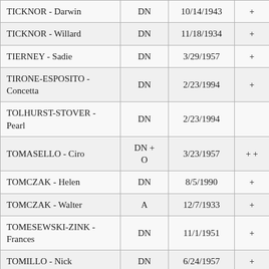| TICKNOR - Darwin | DN | 10/14/1943 | + |
| TICKNOR - Willard | DN | 11/18/1934 | + |
| TIERNEY - Sadie | DN | 3/29/1957 | + |
| TIRONE-ESPOSITO - Concetta | DN | 2/23/1994 | + |
| TOLHURST-STOVER - Pearl | DN | 2/23/1994 |  |
| TOMASELLO - Ciro | DN + O | 3/23/1957 | + + |
| TOMCZAK - Helen | DN | 8/5/1990 | + |
| TOMCZAK - Walter | A | 12/7/1933 | + |
| TOMESEWSKI-ZINK - Frances | DN | 11/1/1951 | + |
| TOMILLO - Nick | DN | 6/24/1957 | + |
| TOMOSER - Louis | DN | 9/8/1955 | + |